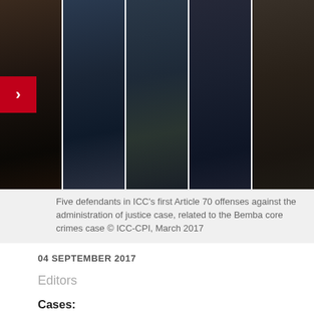[Figure (photo): Five defendants in ICC courtroom, photo montage showing five individuals in suits and ties seated at a desk]
Five defendants in ICC's first Article 70 offenses against the administration of justice case, related to the Bemba core crimes case © ICC-CPI, March 2017
04 SEPTEMBER 2017
Editors
Cases:
Bosco NtagandaJean-Pierre Bemba (Bemba I)Jean-Pierre Bemba (Bemba I)
Topics
Juicios justos
Administración de justicia